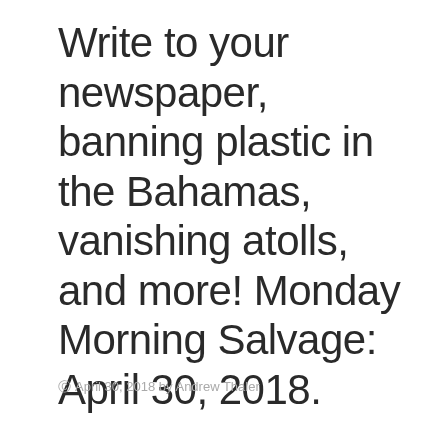Write to your newspaper, banning plastic in the Bahamas, vanishing atolls, and more! Monday Morning Salvage: April 30, 2018.
© April 30, 2018 by Andrew Thaler